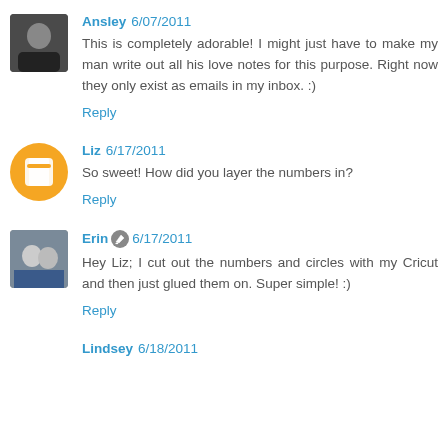Ansley 6/07/2011 — This is completely adorable! I might just have to make my man write out all his love notes for this purpose. Right now they only exist as emails in my inbox. :) Reply
Liz 6/17/2011 — So sweet! How did you layer the numbers in? Reply
Erin 6/17/2011 — Hey Liz; I cut out the numbers and circles with my Cricut and then just glued them on. Super simple! :) Reply
Lindsey 6/18/2011